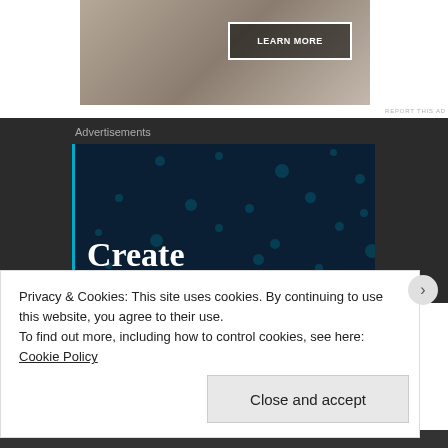[Figure (screenshot): Advertisement image showing a person at a desk with a 'LEARN MORE' button overlay and 'REPORT THIS AD' label]
Advertisements
[Figure (illustration): Dark navy advertisement banner with scattered dot pattern and the word 'Create' in large white serif font, with a cyan left border bar]
Privacy & Cookies: This site uses cookies. By continuing to use this website, you agree to their use.
To find out more, including how to control cookies, see here: Cookie Policy
Close and accept